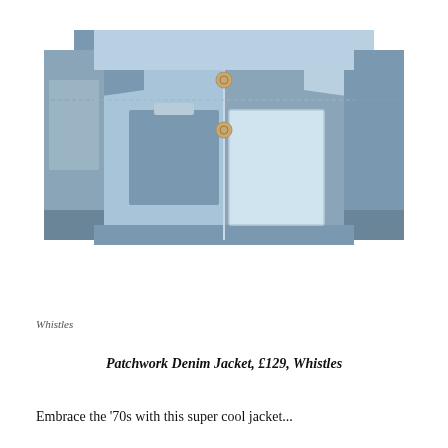[Figure (photo): A patchwork denim jacket displayed flat on a white background. The jacket features multiple panels of different shades of blue denim — light blue, medium blue, and grey-blue — sewn together in a patchwork pattern. It has two large patch pockets on the front, button fastenings down the centre front, and ribbed cuffs. The overall style is reminiscent of 1970s fashion.]
Whistles
Patchwork Denim Jacket, £129, Whistles
Embrace the '70s with this super cool jacket...